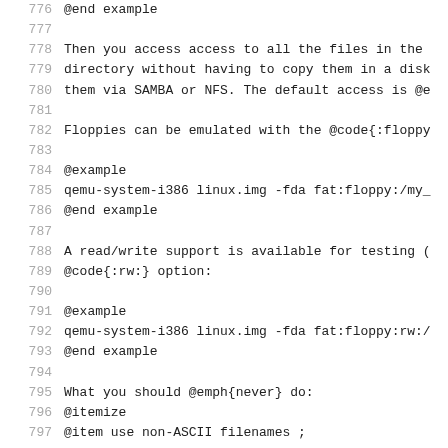776  @end example
777
778  Then you access access to all the files in the
779  directory without having to copy them in a disk
780  them via SAMBA or NFS. The default access is @e
781
782  Floppies can be emulated with the @code{:floppy
783
784  @example
785  qemu-system-i386 linux.img -fda fat:floppy:/my_
786  @end example
787
788  A read/write support is available for testing (
789  @code{:rw:} option:
790
791  @example
792  qemu-system-i386 linux.img -fda fat:floppy:rw:/
793  @end example
794
795  What you should @emph{never} do:
796  @itemize
797  @item use non-ASCII filenames ;